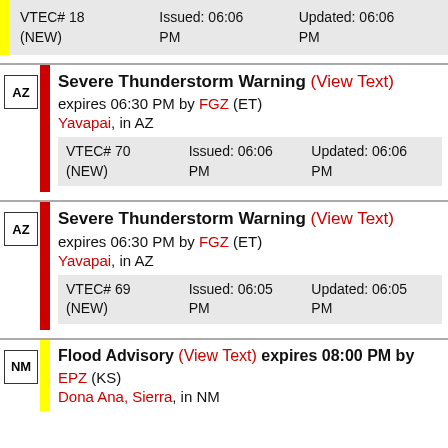VTEC# 18 (NEW) | Issued: 06:06 PM | Updated: 06:06 PM
AZ | Severe Thunderstorm Warning (View Text) expires 06:30 PM by FGZ (ET)
Yavapai, in AZ
VTEC# 70 (NEW) | Issued: 06:06 PM | Updated: 06:06 PM
AZ | Severe Thunderstorm Warning (View Text) expires 06:30 PM by FGZ (ET)
Yavapai, in AZ
VTEC# 69 (NEW) | Issued: 06:05 PM | Updated: 06:05 PM
NM | Flood Advisory (View Text) expires 08:00 PM by EPZ (KS)
Dona Ana, Sierra, in NM